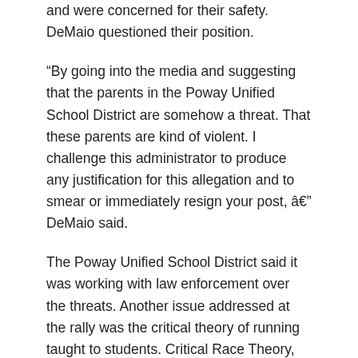and were concerned for their safety. DeMaio questioned their position.
“By going into the media and suggesting that the parents in the Poway Unified School District are somehow a threat. That these parents are kind of violent. I challenge this administrator to produce any justification for this allegation and to smear or immediately resign your post, â€  DeMaio said.
The Poway Unified School District said it was working with law enforcement over the threats. Another issue addressed at the rally was the critical theory of running taught to students. Critical Race Theory, according to Reuters, is an approach for studying how race and racism shaped American law and society and is most often taught in law schools.
“The Poway Unified School District teaches critical race theory. They are. Even though they repeatedly deny that they